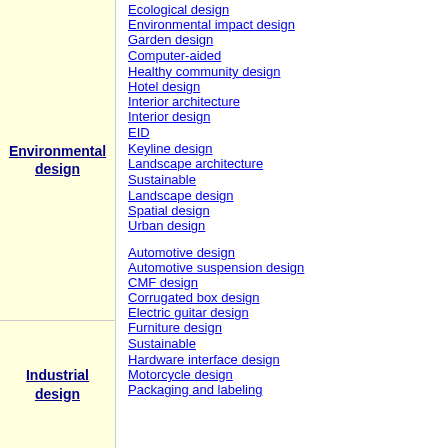Environmental design
Ecological design
Environmental impact design
Garden design
Computer-aided
Healthy community design
Hotel design
Interior architecture
Interior design
EID
Keyline design
Landscape architecture
Sustainable
Landscape design
Spatial design
Urban design
Industrial design
Automotive design
Automotive suspension design
CMF design
Corrugated box design
Electric guitar design
Furniture design
Sustainable
Hardware interface design
Motorcycle design
Packaging and labeling